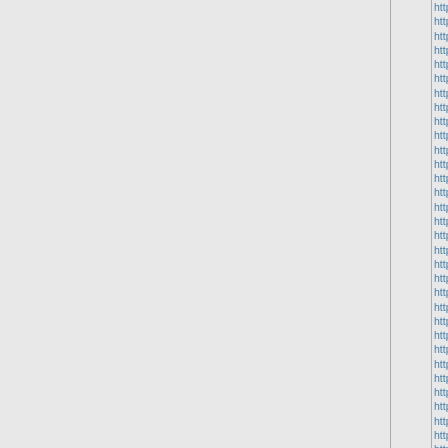http://www.michaelkorsbagso... http://www.brooks-shoes.us.or... http://www.lacosteclothing.us/ http://www.birkenstockclearanc... http://www.ecco-sandals.us/ Ec... http://www.ralphlaurenpoloout... http://www.giuseppezanottis.us... http://www.lacoste.us.org/ Laco... http://www.yeezysupply.us.com... http://www.hugoboss.us.com/ H... http://www.ecco-shoes.ca/ Ecco... http://www.bape-hoodie.us.org/ http://www.karenmillendresses.... http://www.under-armour.us/ Un... http://www.yeezy700.us.org/ Ye... http://www.yeezysupplycanada... http://www.stussycanada.ca/ St... http://www.goldengoosesneake... http://www.offwhite-shoes.us.or... http://www.keds-sneakers.us/ K... http://www.burberryshirt.us.com... http://www.steve-madden.us.co... http://www.adidasnmds.us.org/ http://www.birkenstocksandals-... http://www.goldengoosesneake... http://www.mcmbags.ca/ MCM... http://www.lululemonpants.ca/ l... http://www.thenorthfacecanada... http://www.jimmychoos.us/ Jim... http://www.ed-hardy.us.org/ Ed... http://www.basketball-shoes.us... http://www.skecherswomensho... http://www.vibram.us.org/ Vibra... http://www.yeezyshoessupply.u... http://www.offwhite-hoodie.ca/ o... http://www.champion-hoodie.ca... http://www.fitflop-sandals.us.or... http://www.nikefactoryonline...